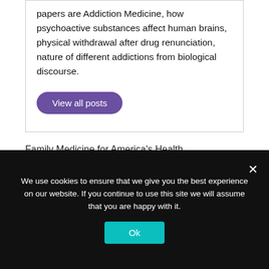papers are Addiction Medicine, how psychoactive substances affect human brains, physical withdrawal after drug renunciation, nature of different addictions from biological discourse.
View all posts
Family Medicine for America's Health
You may also like
We use cookies to ensure that we give you the best experience on our website. If you continue to use this site we will assume that you are happy with it.
Ok